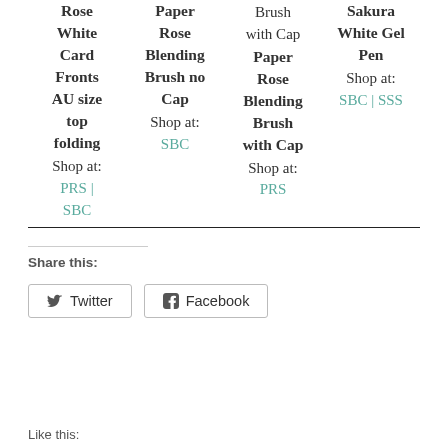Rose White Card Fronts AU size top folding
Shop at:
PRS | SBC
Paper Rose Blending Brush no Cap
Shop at:
SBC
Brush with Cap Paper Rose Blending Brush with Cap
Shop at:
PRS
Sakura White Gel Pen
Shop at:
SBC | SSS
Share this:
Twitter
Facebook